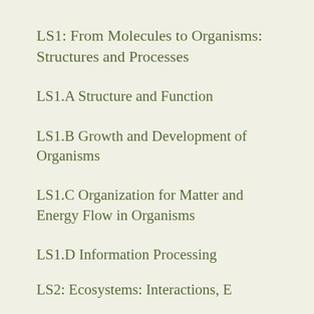LS1: From Molecules to Organisms: Structures and Processes
LS1.A Structure and Function
LS1.B Growth and Development of Organisms
LS1.C Organization for Matter and Energy Flow in Organisms
LS1.D Information Processing
LS2: Ecosystems: Interactions, E…